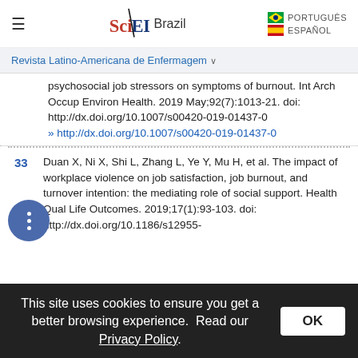SciELO Brazil — PORTUGUÊS / ESPAÑOL
Revista Latino-Americana de Enfermagem
psychosocial job stressors on symptoms of burnout. Int Arch Occup Environ Health. 2019 May;92(7):1013-21. doi: http://dx.doi.org/10.1007/s00420-019-01437-0 » http://dx.doi.org/10.1007/s00420-019-01437-0
33 Duan X, Ni X, Shi L, Zhang L, Ye Y, Mu H, et al. The impact of workplace violence on job satisfaction, job burnout, and turnover intention: the mediating role of social support. Health Qual Life Outcomes. 2019;17(1):93-103. doi: http://dx.doi.org/10.1186/s12955-
This site uses cookies to ensure you get a better browsing experience. Read our Privacy Policy.